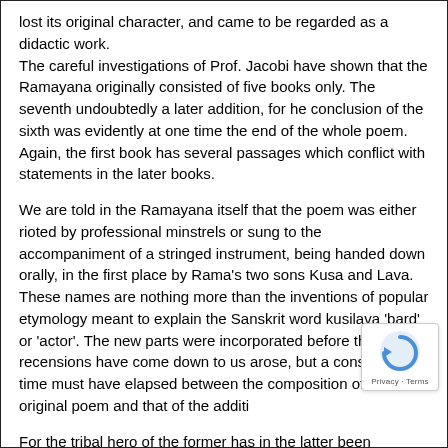lost its original character, and came to be regarded as a didactic work. The careful investigations of Prof. Jacobi have shown that the Ramayana originally consisted of five books only. The seventh undoubtedly a later addition, for he conclusion of the sixth was evidently at one time the end of the whole poem. Again, the first book has several passages which conflict with statements in the later books.
We are told in the Ramayana itself that the poem was either rioted by professional minstrels or sung to the accompaniment of a stringed instrument, being handed down orally, in the first place by Rama's two sons Kusa and Lava. These names are nothing more than the inventions of popular etymology meant to explain the Sanskrit word kusilava 'bard' or 'actor'. The new parts were incorporated before the three recensions have come down to us arose, but a considerable time must have elapsed between the composition of the original poem and that of the additi
For the tribal hero of the former has in the latter been